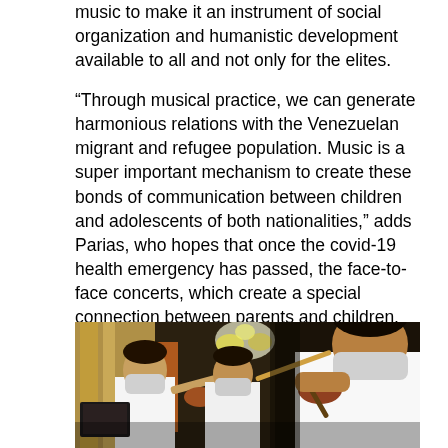music to make it an instrument of social organization and humanistic development available to all and not only for the elites.
“Through musical practice, we can generate harmonious relations with the Venezuelan migrant and refugee population. Music is a super important mechanism to create these bonds of communication between children and adolescents of both nationalities,” adds Parias, who hopes that once the covid-19 health emergency has passed, the face-to-face concerts, which create a special connection between parents and children, will soon resume.
[Figure (photo): Young musicians wearing face masks playing violins at a concert event. Yellow and orange curtains and a floral arrangement are visible in the background.]